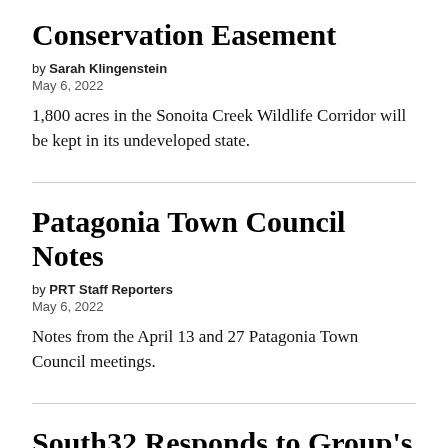Conservation Easement
by Sarah Klingenstein
May 6, 2022
1,800 acres in the Sonoita Creek Wildlife Corridor will be kept in its undeveloped state.
Patagonia Town Council Notes
by PRT Staff Reporters
May 6, 2022
Notes from the April 13 and 27 Patagonia Town Council meetings.
South32 Responds to Group's